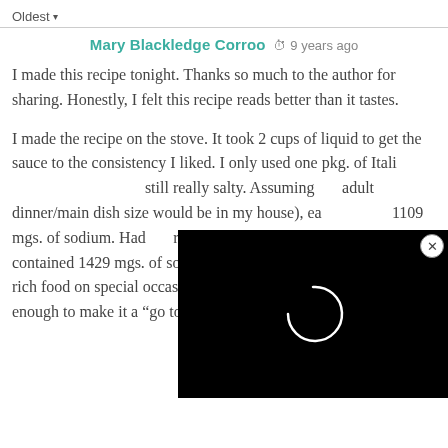Oldest ▾
Mary Blackledge Corroo  🕐  9 years ago
I made this recipe tonight. Thanks so much to the author for sharing. Honestly, I felt this recipe reads better than it tastes.

I made the recipe on the stove. It took 2 cups of liquid to get the sauce to the consistency I liked. I only used one pkg. of Italian dressing mix. It was still really salty. Assuming adult dinner/main dish size portions (which would be in my house), each serving would contain 1109 mgs. of sodium. Had the recipe is written, it would have contained 1429 mgs. of sodium. I don't mind serving my family rich food on special occasions. To me this didn't taste good enough to make it a "go to" splurge meal.
[Figure (screenshot): Black video player overlay with loading spinner (partial circle arc in white on black background), with an X close button in the upper right corner.]